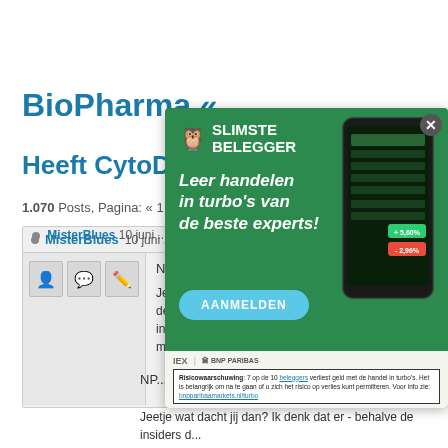BioPharma «
Heeft CytoDyn...
1.070 Posts, Pagina: « 1 ...
MisterBlues 10 juni ...
[Figure (screenshot): Advertisement overlay for Slimste Belegger / IEX BNP Paribas. Green background with owl logo, text 'Leer handelen in turbo's van de beste experts!', AANMELDEN button, phone mockup showing trading app, and risk warning at bottom.]
NP...
Jeetje wat dacht jij dan? Ik denk dat er - behalve de insiders d... ingestopt of met enige voorzinnig en een later moment...